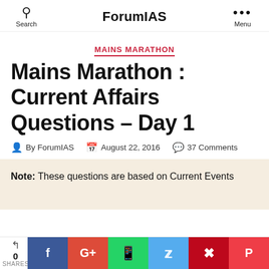ForumIAS
MAINS MARATHON
Mains Marathon : Current Affairs Questions – Day 1
By ForumIAS  August 22, 2016  37 Comments
Note: These questions are based on Current Events